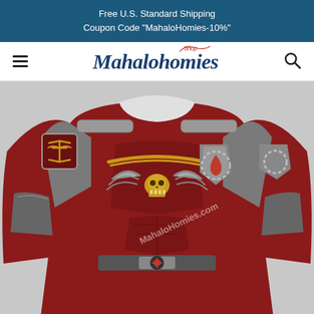Free U.S. Standard Shipping
Coupon Code "MahaloHomies-10%"
[Figure (logo): MahaloHomies Shop logo in dark blue italic serif font with red 'Shop' script above, navigation bar with hamburger menu on left and search icon on right]
[Figure (photo): A Warhammer 40K Space Marine themed sweatshirt/sweater with red and grey armor print design, featuring skull and wings emblem on chest, shoulder pads with Blood Angels insignia, watermarked with MahaloHomies.com]